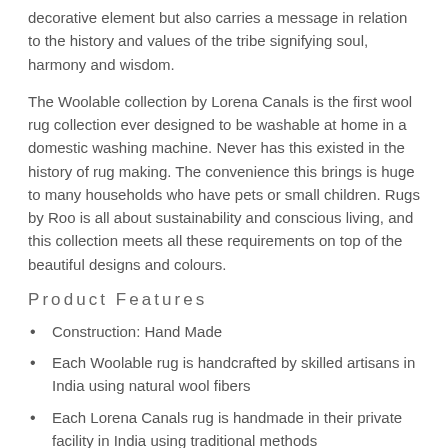decorative element but also carries a message in relation to the history and values of the tribe signifying soul, harmony and wisdom.
The Woolable collection by Lorena Canals is the first wool rug collection ever designed to be washable at home in a domestic washing machine. Never has this existed in the history of rug making. The convenience this brings is huge to many households who have pets or small children. Rugs by Roo is all about sustainability and conscious living, and this collection meets all these requirements on top of the beautiful designs and colours.
Product Features
Construction: Hand Made
Each Woolable rug is handcrafted by skilled artisans in India using natural wool fibers
Each Lorena Canals rug is handmade in their private facility in India using traditional methods
Due to its handmade nature, each rug is unique and one of a kind